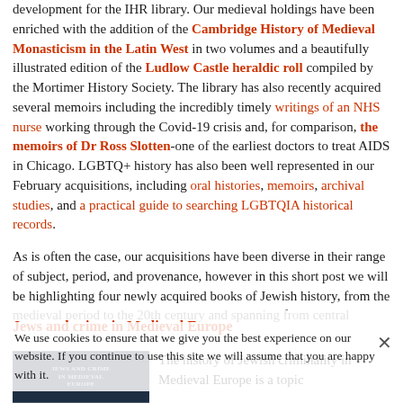February has been another busy month of collection development for the IHR library. Our medieval holdings have been enriched with the addition of the Cambridge History of Medieval Monasticism in the Latin West in two volumes and a beautifully illustrated edition of the Ludlow Castle heraldic roll compiled by the Mortimer History Society. The library has also recently acquired several memoirs including the incredibly timely writings of an NHS nurse working through the Covid-19 crisis and, for comparison, the memoirs of Dr Ross Slotten-one of the earliest doctors to treat AIDS in Chicago. LGBTQ+ history has also been well represented in our February acquisitions, including oral histories, memoirs, archival studies, and a practical guide to searching LGBTQIA historical records.
As is often the case, our acquisitions have been diverse in their range of subject, period, and provenance, however in this short post we will be highlighting four newly acquired books of Jewish history, from the medieval period to the 20th century and spanning from central Europe to the West Coast of America.
Jews and crime in Medieval Europe
The history of Jewish criminality in Medieval Europe is a topic
We use cookies to ensure that we give you the best experience on our website. If you continue to use this site we will assume that you are happy with it.